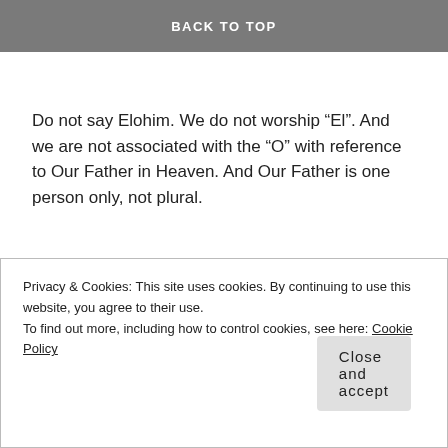BACK TO TOP
Father in Heaven, the one you call “God”. In Aramaic it is Alaha, in Hebrew it is Alahayəm.
Do not say Elohim. We do not worship “El”. And we are not associated with the “O” with reference to Our Father in Heaven. And Our Father is one person only, not plural.
Deuteronomy 6:4,5
4 Hear Israel, יהוה our Alahayəm. Ya is one.
5 And you shall love יהוה your Alahayəm with all your heart and with all your soul and with all your
Privacy & Cookies: This site uses cookies. By continuing to use this website, you agree to their use.
To find out more, including how to control cookies, see here: Cookie Policy
Close and accept